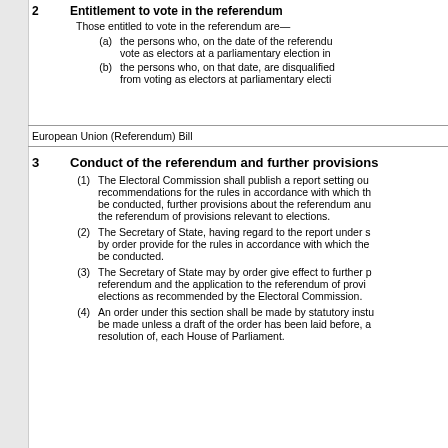2	Entitlement to vote in the referendum
Those entitled to vote in the referendum are—
(a)	the persons who, on the date of the referendum, vote as electors at a parliamentary election in
(b)	the persons who, on that date, are disqualified from voting as electors at parliamentary electi
European Union (Referendum) Bill
3	Conduct of the referendum and further provisions
(1)	The Electoral Commission shall publish a report setting out recommendations for the rules in accordance with which the be conducted, further provisions about the referendum and the referendum of provisions relevant to elections.
(2)	The Secretary of State, having regard to the report under s by order provide for the rules in accordance with which the be conducted.
(3)	The Secretary of State may by order give effect to further p referendum and the application to the referendum of provi elections as recommended by the Electoral Commission.
(4)	An order under this section shall be made by statutory inst be made unless a draft of the order has been laid before, a resolution of, each House of Parliament.